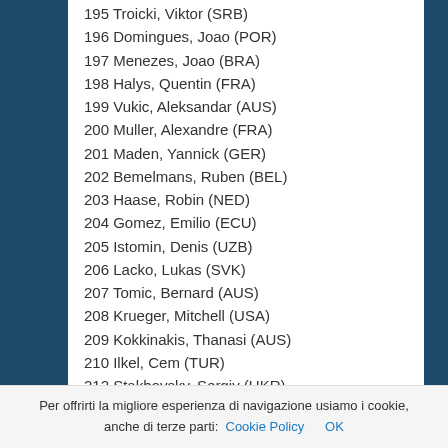195 Troicki, Viktor (SRB)
196 Domingues, Joao (POR)
197 Menezes, Joao (BRA)
198 Halys, Quentin (FRA)
199 Vukic, Aleksandar (AUS)
200 Muller, Alexandre (FRA)
201 Maden, Yannick (GER)
202 Bemelmans, Ruben (BEL)
203 Haase, Robin (NED)
204 Gomez, Emilio (ECU)
205 Istomin, Denis (UZB)
206 Lacko, Lukas (SVK)
207 Tomic, Bernard (AUS)
208 Krueger, Mitchell (USA)
209 Kokkinakis, Thanasi (AUS)
210 Ilkel, Cem (TUR)
212 Stakhovsky, Sergiy (UKR)
213 Ito, Tatsuma (JPN)
214 Masur, Daniel (GER)
215 Collarini, Andrea (ARG)
216 Ramachandran, Ramkumar (IND)
Per offrirti la migliore esperienza di navigazione usiamo i cookie, anche di terze parti: Cookie Policy   OK